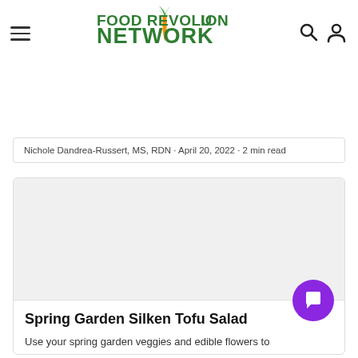Food Revolution Network — navigation header with hamburger menu, logo, search and user icons
making the dish — baking the tofu, mushrooms and pineapple. Looking ahead to planning time what can easily be made ahead of time savers!
Nichole Dandrea-Russert, MS, RDN · April 20, 2022 · 2 min read
[Figure (photo): Large image placeholder area within article card (light grey background)]
Spring Garden Silken Tofu Salad
Use your spring garden veggies and edible flowers to